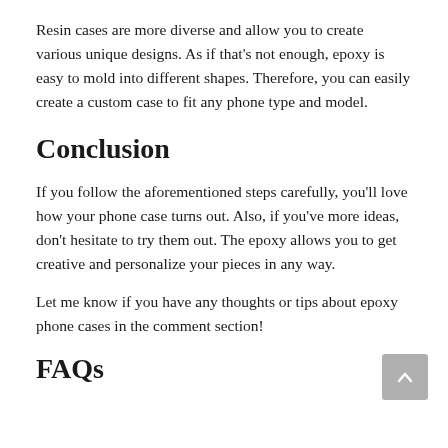Resin cases are more diverse and allow you to create various unique designs. As if that's not enough, epoxy is easy to mold into different shapes. Therefore, you can easily create a custom case to fit any phone type and model.
Conclusion
If you follow the aforementioned steps carefully, you'll love how your phone case turns out. Also, if you've more ideas, don't hesitate to try them out. The epoxy allows you to get creative and personalize your pieces in any way.
Let me know if you have any thoughts or tips about epoxy phone cases in the comment section!
FAQs